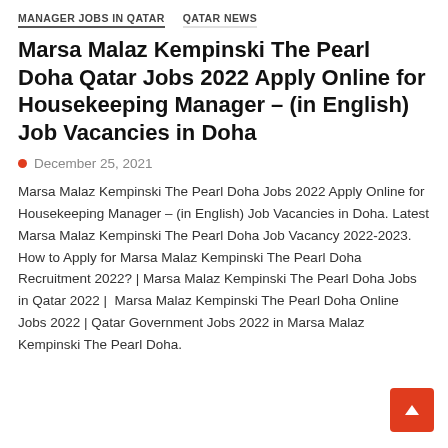MANAGER JOBS IN QATAR   QATAR NEWS
Marsa Malaz Kempinski The Pearl Doha Qatar Jobs 2022 Apply Online for Housekeeping Manager – (in English) Job Vacancies in Doha
December 25, 2021
Marsa Malaz Kempinski The Pearl Doha Jobs 2022 Apply Online for Housekeeping Manager – (in English) Job Vacancies in Doha. Latest Marsa Malaz Kempinski The Pearl Doha Job Vacancy 2022-2023. How to Apply for Marsa Malaz Kempinski The Pearl Doha Recruitment 2022? | Marsa Malaz Kempinski The Pearl Doha Jobs in Qatar 2022 |  Marsa Malaz Kempinski The Pearl Doha Online Jobs 2022 | Qatar Government Jobs 2022 in Marsa Malaz Kempinski The Pearl Doha.